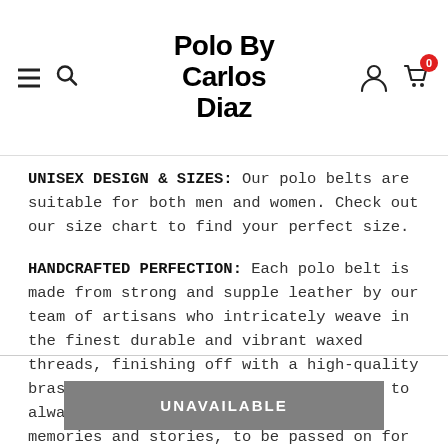Polo By Carlos Diaz
UNISEX DESIGN & SIZES: Our polo belts are suitable for both men and women. Check out our size chart to find your perfect size.
HANDCRAFTED PERFECTION: Each polo belt is made from strong and supple leather by our team of artisans who intricately weave in the finest durable and vibrant waxed threads, finishing off with a high-quality brass buckle. Our products are crafted to always be with you for a lifelong of memories and stories, to be passed on for generations to come.
UNAVAILABLE